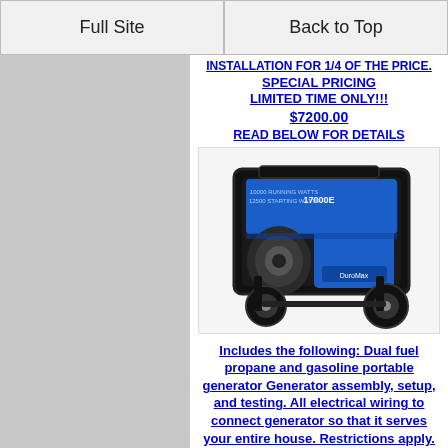Full Site | Back to Top
INSTALLATION FOR 1/4 OF THE PRICE. SPECIAL PRICING LIMITED TIME ONLY!!! $7200.00 READ BELOW FOR DETAILS
[Figure (photo): Blue and black dual fuel portable generator with wheels, DuroMax brand]
Includes the following: Dual fuel propane and gasoline portable generator Generator assembly, setup, and testing. All electrical wiring to connect generator so that it serves your entire house. Restrictions apply. Permit cost will be added to this